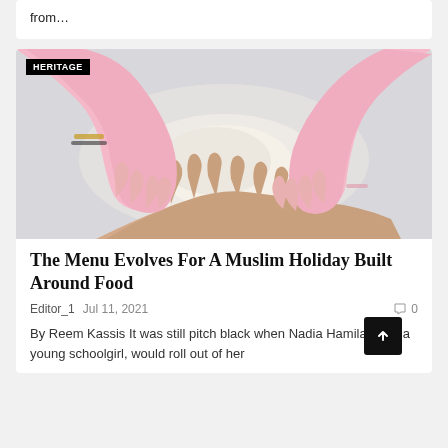from…
[Figure (photo): Multiple hands of different ages kneading or touching dough together on a light grey surface. Adults and children's hands visible, some wearing pink sleeves and bracelets.]
HERITAGE
The Menu Evolves For A Muslim Holiday Built Around Food
Editor_1   Jul 11, 2021   💬 0
By Reem Kassis It was still pitch black when Nadia Hamila, then a young schoolgirl, would roll out of her